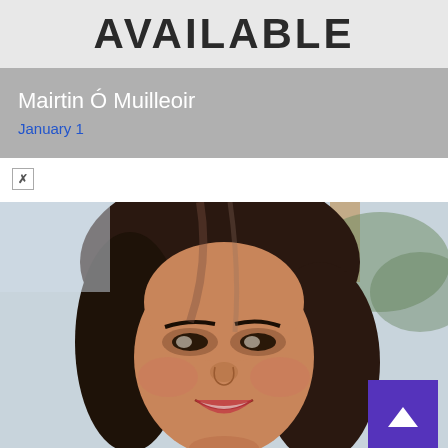AVAILABLE
Mairtin Ó Muilleoir
January 1
[Figure (photo): Close-up portrait photo of a woman with long dark brown hair, smiling, outdoors with wooden structure visible in background]